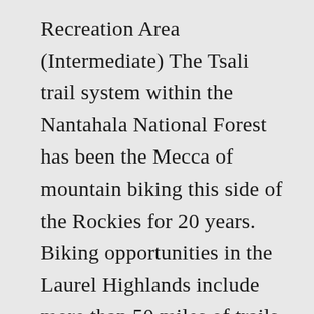Recreation Area (Intermediate) The Tsali trail system within the Nantahala National Forest has been the Mecca of mountain biking this side of the Rockies for 20 years. Biking opportunities in the Laurel Highlands include more than 50 miles of trails at Ohiopyle State Park, including 27 miles of the Great Allegheny Passage and more than 25 miles of mountain biking routes. Kane County Bike Map Kickapoo State Park Mountain Bike Trails Lake County Forest Preserve Trail Maps Lake County DOT’s “Bike Lake County” map, app Madison County Transit Trails Map Midewin National Tallgrass Prairie Diamond trail: It’s between 8 to 10 miles long depending on the route you use and is rated as both easy and difficult trail depending